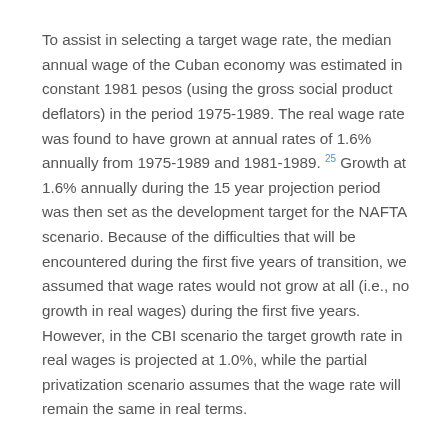To assist in selecting a target wage rate, the median annual wage of the Cuban economy was estimated in constant 1981 pesos (using the gross social product deflators) in the period 1975-1989. The real wage rate was found to have grown at annual rates of 1.6% annually from 1975-1989 and 1981-1989. 25 Growth at 1.6% annually during the 15 year projection period was then set as the development target for the NAFTA scenario. Because of the difficulties that will be encountered during the first five years of transition, we assumed that wage rates would not grow at all (i.e., no growth in real wages) during the first five years. However, in the CBI scenario the target growth rate in real wages is projected at 1.0%, while the partial privatization scenario assumes that the wage rate will remain the same in real terms.